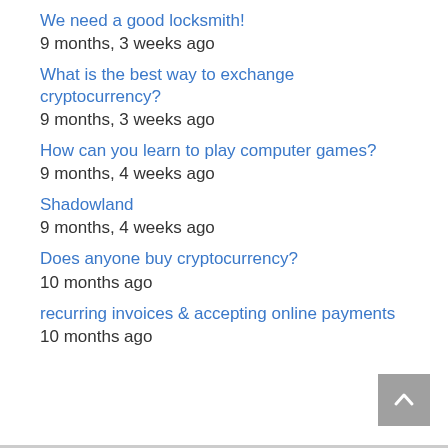We need a good locksmith!
9 months, 3 weeks ago
What is the best way to exchange cryptocurrency?
9 months, 3 weeks ago
How can you learn to play computer games?
9 months, 4 weeks ago
Shadowland
9 months, 4 weeks ago
Does anyone buy cryptocurrency?
10 months ago
recurring invoices & accepting online payments
10 months ago